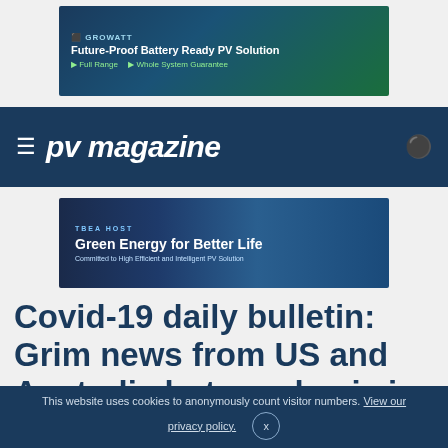[Figure (infographic): Growatt advertisement banner: 'Future-Proof Battery Ready PV Solution' with green and blue gradient background. Full Range · Whole System Guarantee.]
≡  pv magazine
[Figure (infographic): TBEA advertisement banner: 'Green Energy for Better Life' with city and solar panel imagery on blue background.]
Covid-19 daily bulletin: Grim news from US and Australia but pandemic is not solely to blame
This website uses cookies to anonymously count visitor numbers. View our privacy policy. ×